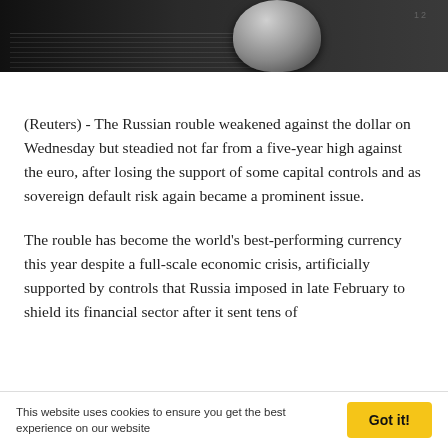[Figure (photo): Close-up photo of a coin (likely a quarter) resting on US dollar bills, with ruler markings visible in the background. Dark, moody lighting.]
(Reuters) - The Russian rouble weakened against the dollar on Wednesday but steadied not far from a five-year high against the euro, after losing the support of some capital controls and as sovereign default risk again became a prominent issue.
The rouble has become the world's best-performing currency this year despite a full-scale economic crisis, artificially supported by controls that Russia imposed in late February to shield its financial sector after it sent tens of
This website uses cookies to ensure you get the best experience on our website